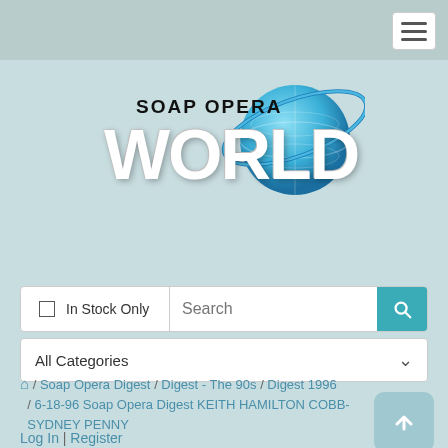[Figure (logo): Soap Opera World logo with globe graphic]
In Stock Only  Search
All Categories
🏠 / Soap Opera Digest / Digest - The 90s / Digest 1996 / 6-18-96 Soap Opera Digest KEITH HAMILTON COBB-SYDNEY PENNY
Log In | Register